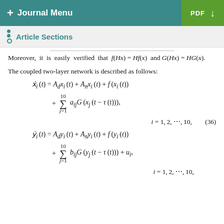+ Journal Menu   PDF ↓
Article Sections
Moreover, it is easily verified that f(Hx) = Hf(x) and G(Hx) = HG(x).
The coupled two-layer network is described as follows: